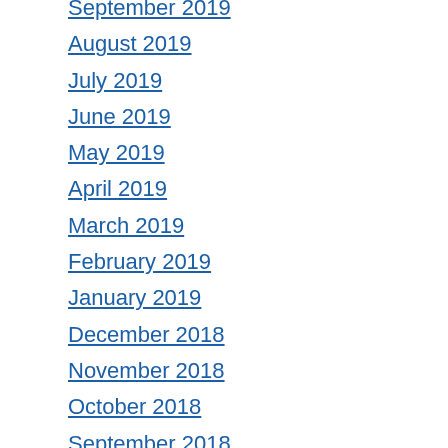September 2019
August 2019
July 2019
June 2019
May 2019
April 2019
March 2019
February 2019
January 2019
December 2018
November 2018
October 2018
September 2018
August 2018